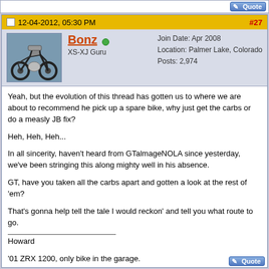Quote button area
12-04-2012, 05:30 PM  #27
Bonz  XS-XJ Guru  Join Date: Apr 2008  Location: Palmer Lake, Colorado  Posts: 2,974
Yeah, but the evolution of this thread has gotten us to where we are about to recommend he pick up a spare bike, why just get the carbs or do a measly JB fix?
Heh, Heh, Heh...
In all sincerity, haven't heard from GTalmageNOLA since yesterday, we've been stringing this along mighty well in his absence.
GT, have you taken all the carbs apart and gotten a look at the rest of 'em?
That's gonna help tell the tale I would reckon' and tell you what route to go.
Howard
'01 ZRX 1200, only bike in the garage.
2020 Rally Link:
http://www.appleattic.net/XS2020/xs2020.html